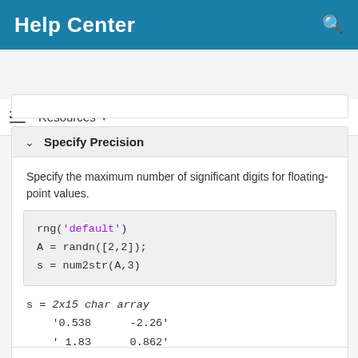Help Center
Resources ▼
Specify Precision
Specify the maximum number of significant digits for floating-point values.
s = 2x15 char array
    '0.538      -2.26'
    ' 1.83       0.862'